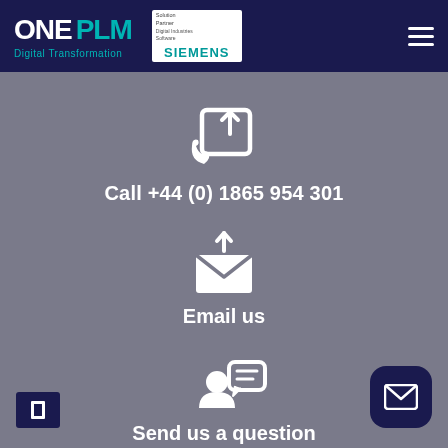[Figure (logo): ONE PLM Digital Transformation logo with Siemens Solution Partner badge in dark navy header bar]
[Figure (infographic): Phone callback icon (handset with upward arrow in box) above 'Call +44 (0) 1865 954 301' text on grey background]
Call +44 (0) 1865 954 301
[Figure (infographic): Email icon (envelope with upward arrow) above 'Email us' text]
Email us
[Figure (infographic): Person with speech bubble icon above 'Send us a question' text]
Send us a question